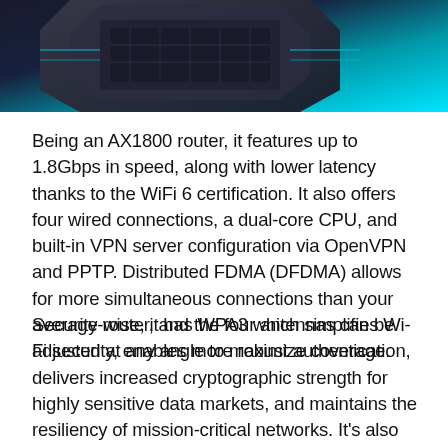[Figure (photo): Close-up photo of a dark computer chip/processor on a blue-teal gradient background]
Being an AX1800 router, it features up to 1.8Gbps in speed, along with lower latency thanks to the WiFi 6 certification. It also offers four wired connections, a dual-core CPU, and built-in VPN server configuration via OpenVPN and PPTP. Distributed FDMA (DFDMA) allows for more simultaneous connections than your average router, and the four antennas can be adjusted at any angle to maximize coverage.
Security-wise, it has WPA3 which simplifies Wi-Fi security, enables more robust authentication, delivers increased cryptographic strength for highly sensitive data markets, and maintains the resiliency of mission-critical networks. It's also fully compatible with all major ISPs, and features five different antennas that can be adjusted in...